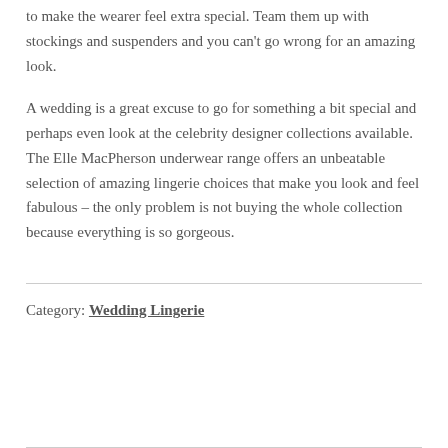to make the wearer feel extra special. Team them up with stockings and suspenders and you can't go wrong for an amazing look.
A wedding is a great excuse to go for something a bit special and perhaps even look at the celebrity designer collections available. The Elle MacPherson underwear range offers an unbeatable selection of amazing lingerie choices that make you look and feel fabulous – the only problem is not buying the whole collection because everything is so gorgeous.
Category: Wedding Lingerie